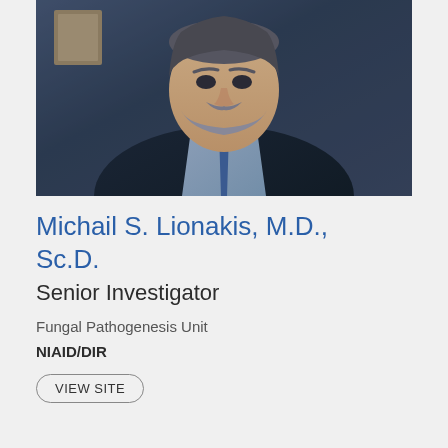[Figure (photo): Professional headshot of Michail S. Lionakis, a middle-aged man with a beard wearing a dark sweater over a light blue shirt with a blue patterned tie, seated indoors with framed items visible in the background.]
Michail S. Lionakis, M.D., Sc.D.
Senior Investigator
Fungal Pathogenesis Unit
NIAID/DIR
VIEW SITE